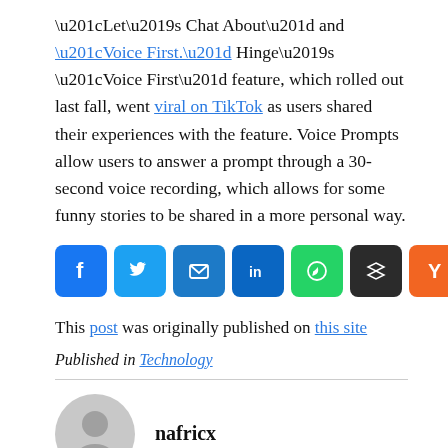“Let’s Chat About” and “Voice First.” Hinge’s “Voice First” feature, which rolled out last fall, went viral on TikTok as users shared their experiences with the feature. Voice Prompts allow users to answer a prompt through a 30-second voice recording, which allows for some funny stories to be shared in a more personal way.
[Figure (infographic): Social share buttons row: Facebook, Twitter, Email, LinkedIn, WhatsApp, Buffer, Y Combinator/Hacker News, Print, More]
This post was originally published on this site
Published in Technology
nafricx